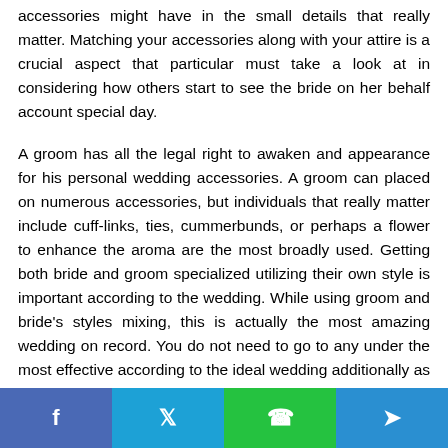accessories might have in the small details that really matter. Matching your accessories along with your attire is a crucial aspect that particular must take a look at in considering how others start to see the bride on her behalf account special day.
A groom has all the legal right to awaken and appearance for his personal wedding accessories. A groom can placed on numerous accessories, but individuals that really matter include cuff-links, ties, cummerbunds, or perhaps a flower to enhance the aroma are the most broadly used. Getting both bride and groom specialized utilizing their own style is important according to the wedding. While using groom and bride’s styles mixing, this is actually the most amazing wedding on record. You do not need to go to any under the most effective according to the ideal wedding additionally as to the accessories you decide on for the special day.